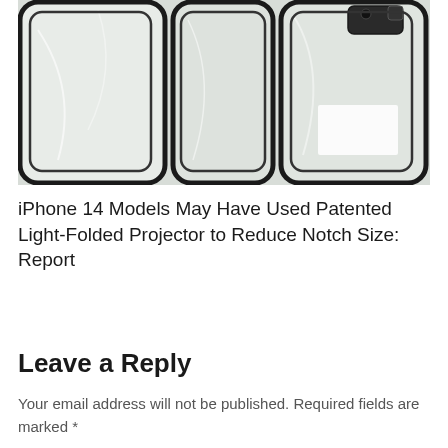[Figure (photo): Photograph of multiple iPhone back panels or screen protectors laid flat, showing black rounded-rectangle outlines on white/silver surfaces, with camera cutouts visible in the upper right corner. The panels appear to be wrapped in protective plastic film.]
iPhone 14 Models May Have Used Patented Light-Folded Projector to Reduce Notch Size: Report
Leave a Reply
Your email address will not be published. Required fields are marked *